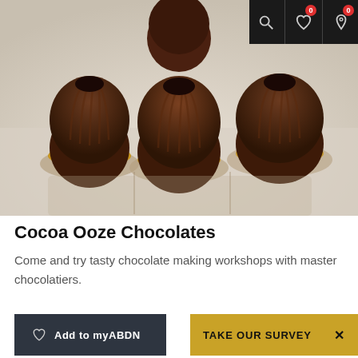[Figure (photo): Close-up photo of chocolate confections in a plastic tray with caramel filling, on a white background]
Cocoa Ooze Chocolates
Come and try tasty chocolate making workshops with master chocolatiers.
Add to myABDN
TAKE OUR SURVEY